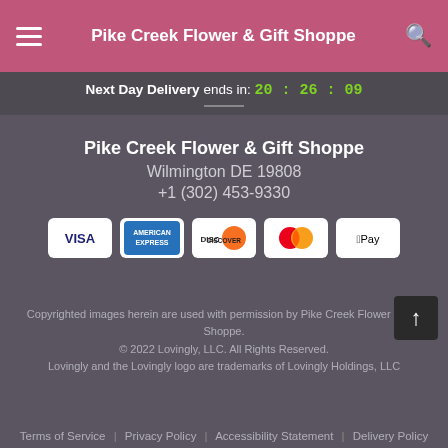Pike Creek Flower & Gift Shoppe
Next Day Delivery ends in: 20 : 26 : 09
Pike Creek Flower & Gift Shoppe
Wilmington DE 19808
+1 (302) 453-9330
[Figure (other): Payment method icons: Visa, American Express, Discover, Mastercard, Apple Pay]
Copyrighted images herein are used with permission by Pike Creek Flower & Gift Shoppe.
© 2022 Lovingly, LLC. All Rights Reserved.
Lovingly and the Lovingly logo are trademarks of Lovingly Holdings, LLC
Terms of Service | Privacy Policy | Accessibility Statement | Delivery Policy